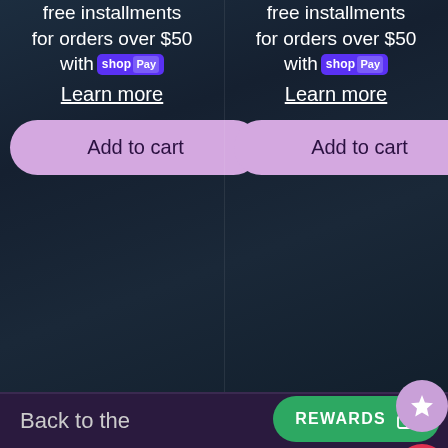free installments for orders over $50 with shop Pay Learn more
Add to cart
free installments for orders over $50 with shop Pay Learn more
Add to cart
[Figure (illustration): Star icon circle (purple) and heart icon circle (red) on right side]
Back to the
REWARDS